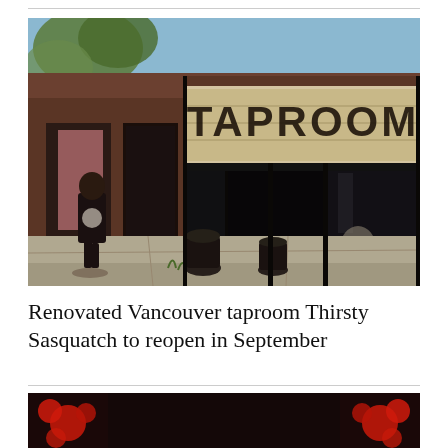[Figure (photo): Exterior photo of a taproom storefront with a wooden sign reading 'TAPROOM' on a brick building. A person is walking on the sidewalk to the left. Black-framed large windows and entrance door visible. Sunny day with trees in background.]
Renovated Vancouver taproom Thirsty Sasquatch to reopen in September
[Figure (photo): Partial view of a second photo at the bottom of the page, showing red flowers or decorations on a dark background.]